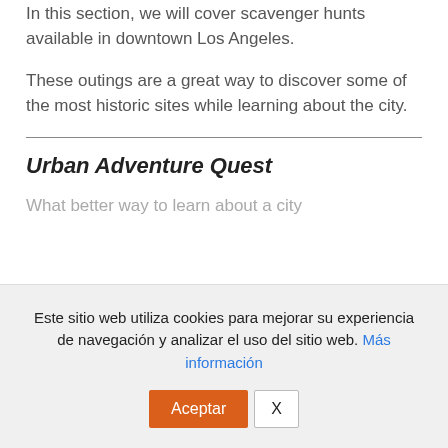In this section, we will cover scavenger hunts available in downtown Los Angeles.
These outings are a great way to discover some of the most historic sites while learning about the city.
Urban Adventure Quest
What better way to learn about a city
Este sitio web utiliza cookies para mejorar su experiencia de navegación y analizar el uso del sitio web. Más información
Aceptar  X